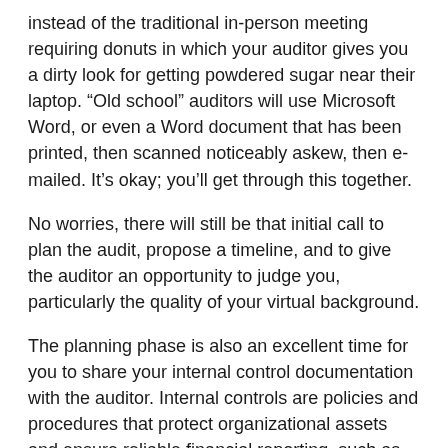instead of the traditional in-person meeting requiring donuts in which your auditor gives you a dirty look for getting powdered sugar near their laptop. “Old school” auditors will use Microsoft Word, or even a Word document that has been printed, then scanned noticeably askew, then e-mailed. It’s okay; you’ll get through this together.
No worries, there will still be that initial call to plan the audit, propose a timeline, and to give the auditor an opportunity to judge you, particularly the quality of your virtual background.
The planning phase is also an excellent time for you to share your internal control documentation with the auditor. Internal controls are policies and procedures that protect organizational assets and ensure reliable financial reporting, such as this handy illustration of separation of duties, which absolutely does not show how many times the executive director has cut checks to unknown vendors and failed to tell the bookkeeper.